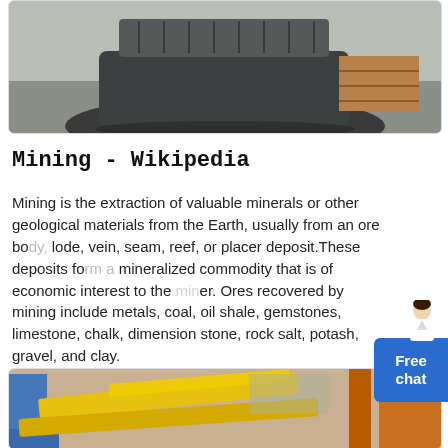[Figure (photo): Industrial mining machinery (crusher/feeder) inside a warehouse, grey/dark tones]
Mining - Wikipedia
Mining is the extraction of valuable minerals or other geological materials from the Earth, usually from an ore body, lode, vein, seam, reef, or placer deposit.These deposits form a mineralized commodity that is of economic interest to the miner. Ores recovered by mining include metals, coal, oil shale, gemstones, limestone, chalk, dimension stone, rock salt, potash, gravel, and clay.
READ MORE
[Figure (photo): Yellow and orange industrial mining equipment/conveyor machinery in a warehouse]